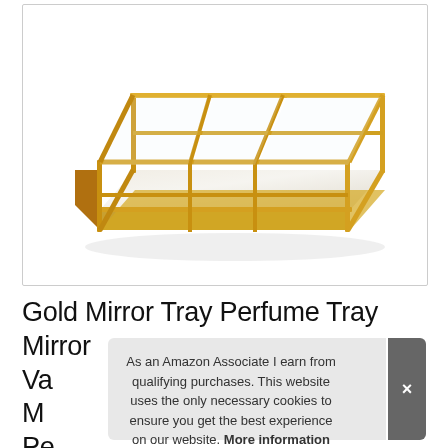[Figure (photo): A rectangular gold metal and glass mirror tray with geometric grid frame design, photographed on white background.]
Gold Mirror Tray Perfume Tray Mirror Va... Me... Pe... Vanity ByTwo Tray Mirror Dresser
As an Amazon Associate I earn from qualifying purchases. This website uses the only necessary cookies to ensure you get the best experience on our website. More information